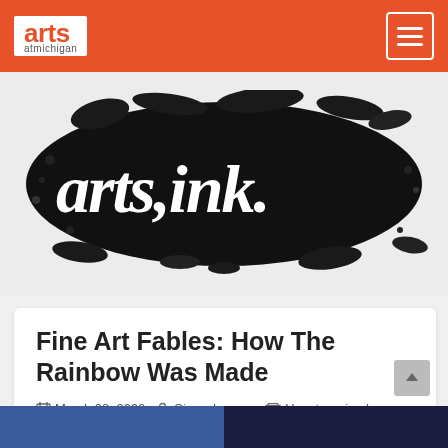arts at michigan
[Figure (logo): arts ink. banner logo — white handwritten-style text on black ink splatter background]
Fine Art Fables: How The Rainbow Was Made
March 28, 2022  Sierra Iverson  Uncategorized
[Figure (photo): Bottom edge of a photograph, partially visible — dark blue tones]